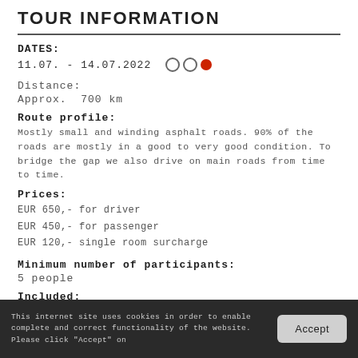TOUR INFORMATION
DATES:
11.07. - 14.07.2022  ○○●
Distance:
Approx.  700 km
Route profile:
Mostly small and winding asphalt roads. 90% of the roads are mostly in a good to very good condition. To bridge the gap we also drive on main roads from time to time.
Prices:
EUR 650,- for driver
EUR 450,- for passenger
EUR 120,- single room surcharge
Minimum number of participants:
5 people
Included:
This internet site uses cookies in order to enable complete and correct functionality of the website. Please click "Accept" on